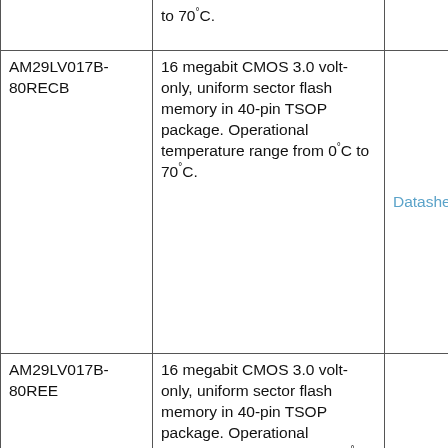| Part Number | Description | Link |
| --- | --- | --- |
|  | to 70°C. |  |
| AM29LV017B-80RECB | 16 megabit CMOS 3.0 volt-only, uniform sector flash memory in 40-pin TSOP package. Operational temperature range from 0°C to 70°C. | Datasheet |
| AM29LV017B-80REE | 16 megabit CMOS 3.0 volt-only, uniform sector flash memory in 40-pin TSOP package. Operational temperature range from -55°C to [cut off] | Datasheet |